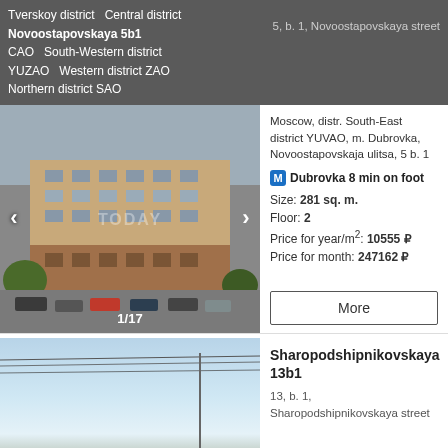Tverskoy district   Central district Novoostapovskaya 5b1  CAO   South-Western district YUZAO   Western district ZAO   Northern district SAO     5, b. 1, Novoostapovskaya street
[Figure (photo): Exterior photo of a multi-story Soviet-era office/residential building with parked cars in front, labeled 1/17]
Moscow, distr. South-East district YUVAO, m. Dubrovka, Novoostapovskaja ulitsa, 5 b. 1
M Dubrovka 8 min on foot
Size: 281 sq. m.
Floor: 2
Price for year/m²: 10555 ₽
Price for month: 247162 ₽
More
[Figure (photo): Photo of sky with power lines visible at top]
Sharopodshipnikovskaya 13b1
13, b. 1, Sharopodshipnikovskaya street